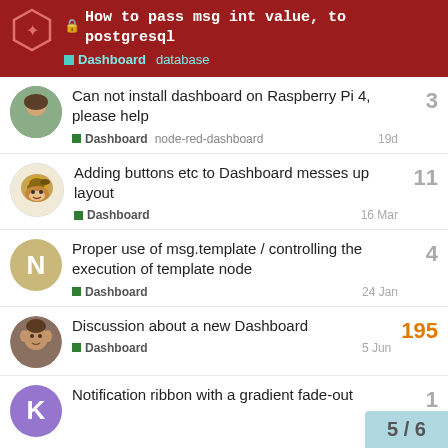How to pass msg int value, to postgresql | Dashboard | database
Can not install dashboard on Raspberry Pi 4, please help | Dashboard | node-red-dashboard | 19d | 3 replies
Adding buttons etc to Dashboard messes up layout | Dashboard | 16 Mar | 11 replies
Proper use of msg.template / controlling the execution of template node | Dashboard | 24 Jan | 4 replies
Discussion about a new Dashboard | Dashboard | 5 Jun | 195 replies
Notification ribbon with a gradient fade-out | 1 reply
5 / 6